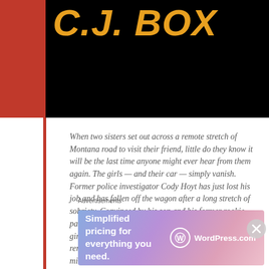[Figure (illustration): Top portion of a book cover with black background, red left bar, and large orange author name text reading 'C.J. BOX']
When two sisters set out across a remote stretch of Montana road to visit their friend, little do they know it will be the last time anyone might ever hear from them again. The girls — and their car — simply vanish. Former police investigator Cody Hoyt has just lost his job and has fallen off the wagon after a long stretch of sobriety. Convinced by his son and his former rookie partner, Cassie Dewell, he begins the drive south to the girls' last known location. As Cody makes his way to the remote stretch of Montana highway where they went missing, Cassie discovers that Gracie and
Advertisements
[Figure (screenshot): Advertisement banner for WordPress.com with gradient purple/pink background. Text reads 'Simplified pricing for everything you need.' with WordPress.com logo on right.]